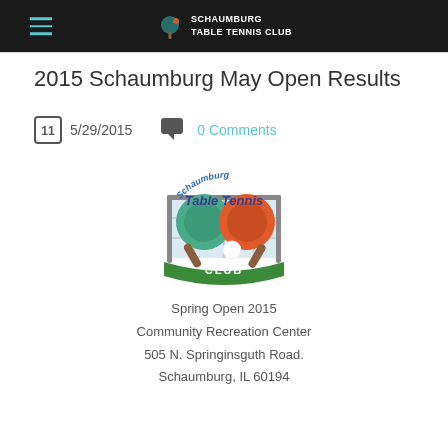SCHAUMBURG TABLE TENNIS CLUB
2015 Schaumburg May Open Results
5/29/2015   0 Comments
[Figure (logo): Schaumburg Table Tennis Club logo featuring two ping pong paddles and a ball with a net background]
Spring Open 2015
Community Recreation Center
505 N. Springinsguth Road.
Schaumburg, IL 60194